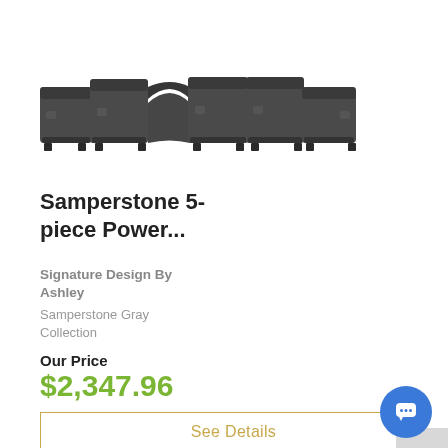[Figure (photo): Dark gray sectional reclining sofa (5-piece) viewed from front-left angle]
Samperstone 5-piece Power...
Signature Design By Ashley
Samperstone Gray Collection
Our Price
$2,347.96
See Details